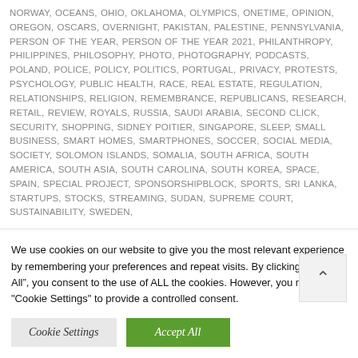NORWAY, OCEANS, OHIO, OKLAHOMA, OLYMPICS, ONETIME, OPINION, OREGON, OSCARS, OVERNIGHT, PAKISTAN, PALESTINE, PENNSYLVANIA, PERSON OF THE YEAR, PERSON OF THE YEAR 2021, PHILANTHROPY, PHILIPPINES, PHILOSOPHY, PHOTO, PHOTOGRAPHY, PODCASTS, POLAND, POLICE, POLICY, POLITICS, PORTUGAL, PRIVACY, PROTESTS, PSYCHOLOGY, PUBLIC HEALTH, RACE, REAL ESTATE, REGULATION, RELATIONSHIPS, RELIGION, REMEMBRANCE, REPUBLICANS, RESEARCH, RETAIL, REVIEW, ROYALS, RUSSIA, SAUDI ARABIA, SECOND CLICK, SECURITY, SHOPPING, SIDNEY POITIER, SINGAPORE, SLEEP, SMALL BUSINESS, SMART HOMES, SMARTPHONES, SOCCER, SOCIAL MEDIA, SOCIETY, SOLOMON ISLANDS, SOMALIA, SOUTH AFRICA, SOUTH AMERICA, SOUTH ASIA, SOUTH CAROLINA, SOUTH KOREA, SPACE, SPAIN, SPECIAL PROJECT, SPONSORSHIPBLOCK, SPORTS, SRI LANKA, STARTUPS, STOCKS, STREAMING, SUDAN, SUPREME COURT, SUSTAINABILITY, SWEDEN,
We use cookies on our website to give you the most relevant experience by remembering your preferences and repeat visits. By clicking “Accept All”, you consent to the use of ALL the cookies. However, you may visit "Cookie Settings" to provide a controlled consent.